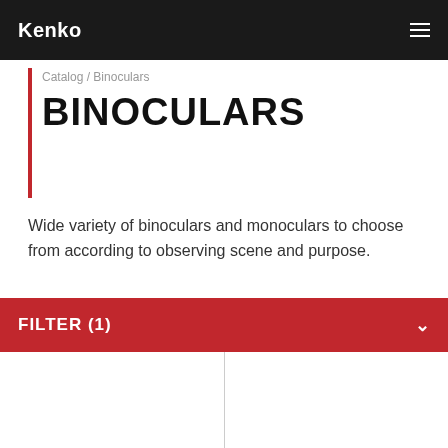Kenko
Catalog / Binoculars
BINOCULARS
Wide variety of binoculars and monoculars to choose from according to observing scene and purpose.
FILTER (1)